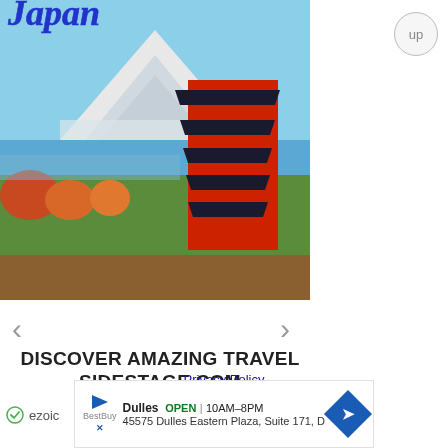[Figure (photo): Advertisement banner showing Japan travel with a red pagoda and Mount Fuji in the background, with italic blue 'Japan' text at the top]
DISCOVER AMAZING TRAVEL
SIDESTAGE.COM
ezoic
report this ad
Privacy Policy
[Figure (screenshot): Bottom advertisement for a store in Dulles: OPEN 10AM-8PM, 45575 Dulles Eastern Plaza, Suite 171, D]